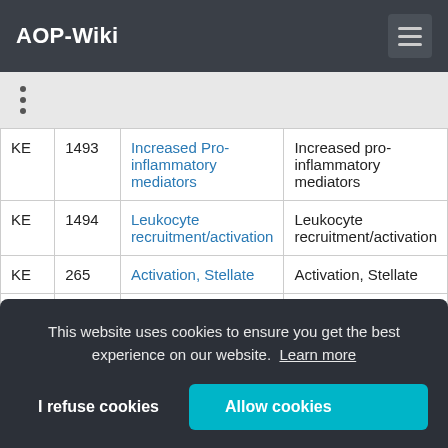AOP-Wiki
| Type | ID | Link | Description |
| --- | --- | --- | --- |
| KE | 1493 | Increased Pro-inflammatory mediators | Increased pro-inflammatory mediators |
| KE | 1494 | Leukocyte recruitment/activation | Leukocyte recruitment/activation |
| KE | 265 | Activation, Stellate | Activation, Stellate |
| KE |  |  |  |
This website uses cookies to ensure you get the best experience on our website. Learn more
I refuse cookies | Allow cookies